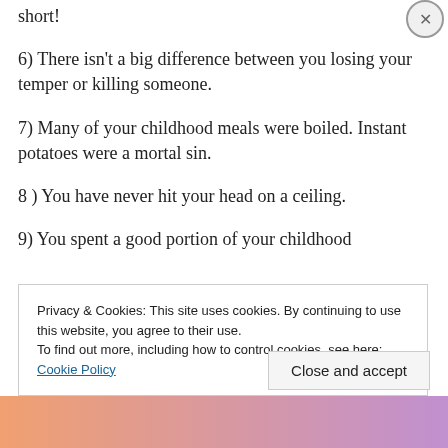5) You have no idea how to make a long story short!
6) There isn't a big difference between you losing your temper or killing someone.
7) Many of your childhood meals were boiled. Instant potatoes were a mortal sin.
8 ) You have never hit your head on a ceiling.
9) You spent a good portion of your childhood
Privacy & Cookies: This site uses cookies. By continuing to use this website, you agree to their use. To find out more, including how to control cookies, see here: Cookie Policy
Close and accept